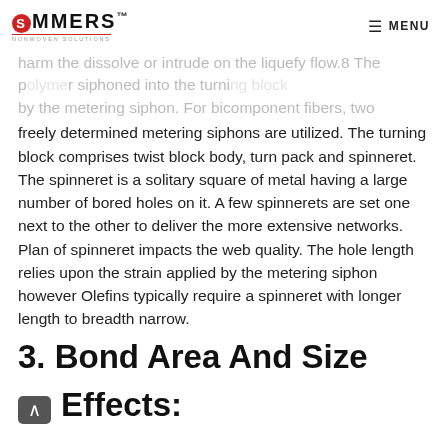SOMMERS NONWOVEN SOLUTIONS — MENU
harm the dissolve or intrude on the liquefy flow.8 The p... siphoned into the turning block by the metering siphon. For bicomponent fibers, two freely determined metering siphons are utilized. The turning block comprises twist block body, turn pack and spinneret. The spinneret is a solitary square of metal having a large number of bored holes on it. A few spinnerets are set one next to the other to deliver the more extensive networks. Plan of spinneret impacts the web quality. The hole length relies upon the strain applied by the metering siphon however Olefins typically require a spinneret with longer length to breadth narrow.
3. Bond Area And Size Effects: